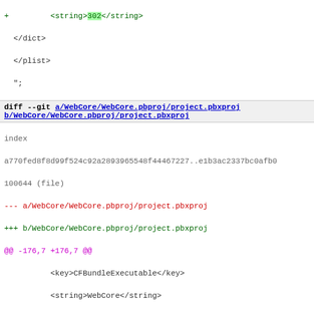[Figure (screenshot): Git diff output showing changes to WebCore/WebCore.pbproj/project.pbxproj, replacing version number 402 with 302 in CFBundleGetInfoString, CFBundleShortVersionString, and CFBundleVersion keys.]